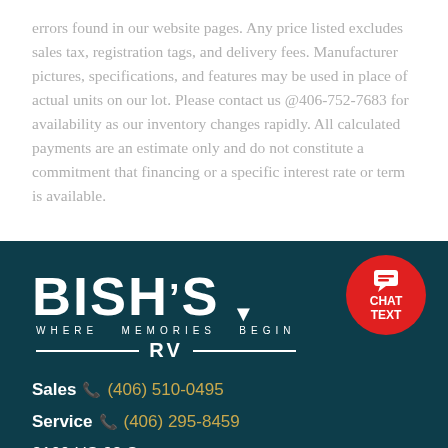errors found in our website pages. Any price listed excludes sales tax, registration tags, and delivery fees. Manufacturer pictures, specifications, and features may be used in place of actual units on our lot. Please contact us @406-752-7683 for availability as our inventory changes rapidly. All calculated payments are an estimate only and do not constitute a commitment that financing or a specific interest rate or term is available.
[Figure (logo): Bish's RV logo — white BISH'S wordmark with a downward chevron above the apostrophe, tagline WHERE MEMORIES BEGIN, and RV flanked by horizontal rules, all on dark teal background. Red circular chat/text button in top right corner.]
Sales (406) 510-0495
Service (406) 295-8459
3100 US 93 S